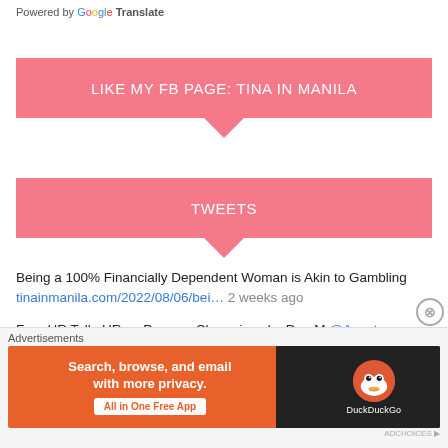Powered by Google Translate
LIKE MY FB PAGE: TINA IN MANILA
TWEETS
Being a 100% Financially Dependent Woman is Akin to Gambling tinainmanila.com/2022/08/06/bei… 2 weeks ago
Free HR Talk: HR as Process Champions by Dee M.@Ancot tinainmanila.com/2022/08/06/fre… 2 weeks ago
[Figure (infographic): DuckDuckGo advertisement banner: orange section with text 'Search, browse, and email with more privacy. All in One Free App' and dark section with DuckDuckGo duck logo]
Advertisements